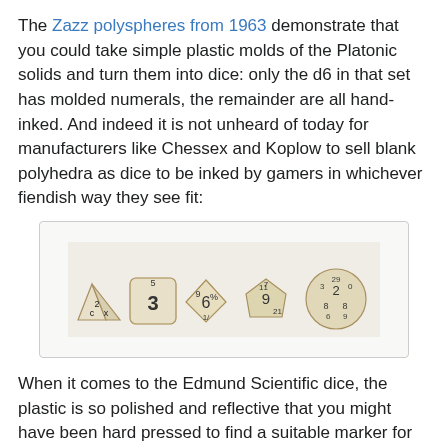The Zazz polyspheres from 1963 demonstrate that you could take simple plastic molds of the Platonic solids and turn them into dice: only the d6 in that set has molded numerals, the remainder are all hand-inked. And indeed it is not unheard of today for manufacturers like Chessex and Koplow to sell blank polyhedra as dice to be inked by gamers in whichever fiendish way they see fit:
[Figure (photo): Five blank polyhedral dice (d4, d6, d8, d12, d20) in cream/beige color with hand-inked black numerals, arranged in a row on a light background, inside a rounded rectangle border.]
When it comes to the Edmund Scientific dice, the plastic is so polished and reflective that you might have been hard pressed to find a suitable marker for them. Also, international safety orange is perhaps not the most versatile color as a backdrop for inking. And in order to use the tetrahedron as a die, you would need to solve the d4 problem. But the Edmund Scientific polyhedra might well have been the first polyhedral dice that some gamers rolled.